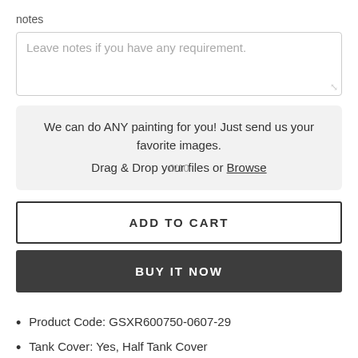notes
[Figure (screenshot): A textarea input box with placeholder text 'Leave notes if you have any requirement.' and a resize handle in the bottom right corner.]
[Figure (infographic): A gray upload box with text: 'We can do ANY painting for you! Just send us your favorite images. Drag & Drop your files or Browse' with a '0/10' file counter overlay.]
ADD TO CART
BUY IT NOW
Product Code: GSXR600750-0607-29
Tank Cover: Yes, Half Tank Cover